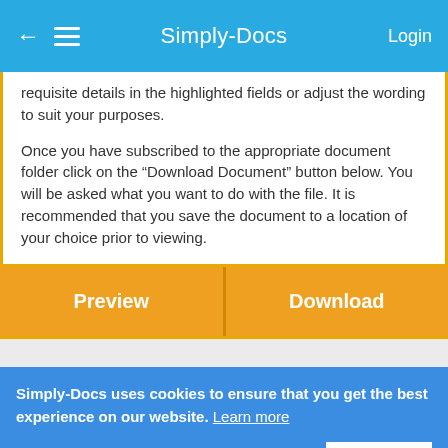Simply-Docs  Login
requisite details in the highlighted fields or adjust the wording to suit your purposes.
Once you have subscribed to the appropriate document folder click on the “Download Document” button below. You will be asked what you want to do with the file. It is recommended that you save the document to a location of your choice prior to viewing.
[Figure (screenshot): Two orange buttons side by side: Preview and Download]
Simply-Docs uses cookies to ensure that you get the best experience on our website. Learn more
Got it!